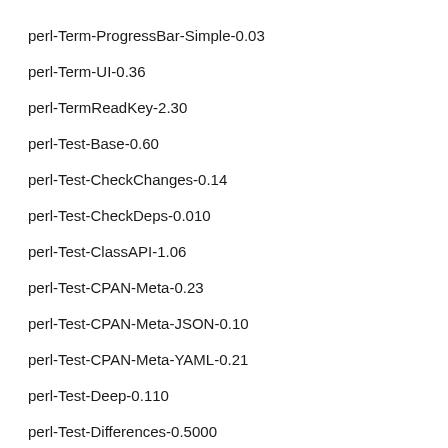perl-Term-ProgressBar-Simple-0.03
perl-Term-UI-0.36
perl-TermReadKey-2.30
perl-Test-Base-0.60
perl-Test-CheckChanges-0.14
perl-Test-CheckDeps-0.010
perl-Test-ClassAPI-1.06
perl-Test-CPAN-Meta-0.23
perl-Test-CPAN-Meta-JSON-0.10
perl-Test-CPAN-Meta-YAML-0.21
perl-Test-Deep-0.110
perl-Test-Differences-0.5000
perl-Test-DistManifest-1.012
perl-Test-Distribution-2.00